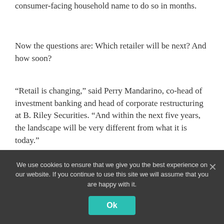consumer-facing household name to do so in months.
Now the questions are: Which retailer will be next? And how soon?
“Retail is changing,” said Perry Mandarino, co-head of investment banking and head of corporate restructuring at B. Riley Securities. “And within the next five years, the landscape will be very different from what it is today.”
The industry had seen a dramatic pullback in restructurings in 2021 and early 2022 as companies, including those that had been on so-called bankruptcy…
We use cookies to ensure that we give you the best experience on our website. If you continue to use this site we will assume that you are happy with it.